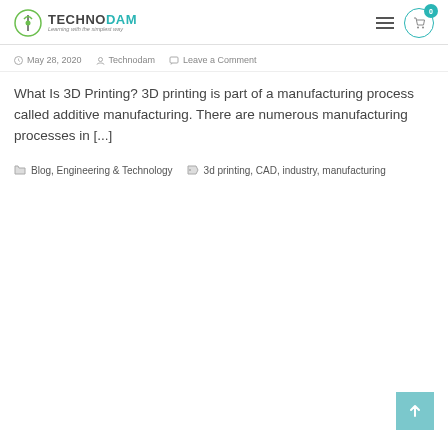TECHNODAM — Learning with the simplest way
May 28, 2020  Technodam  Leave a Comment
What Is 3D Printing? 3D printing is part of a manufacturing process called additive manufacturing. There are numerous manufacturing processes in [...]
Blog, Engineering & Technology  3d printing, CAD, industry, manufacturing